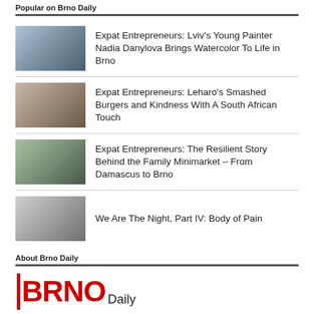Popular on Brno Daily
Expat Entrepreneurs: Lviv’s Young Painter Nadia Danylova Brings Watercolor To Life in Brno
Expat Entrepreneurs: Leharo’s Smashed Burgers and Kindness With A South African Touch
Expat Entrepreneurs: The Resilient Story Behind the Family Minimarket – From Damascus to Brno
We Are The Night, Part IV: Body of Pain
About Brno Daily
[Figure (logo): Brno Daily logo: vertical red bar followed by BRNO in bold red and Daily in black]
English News and Events in Brno.